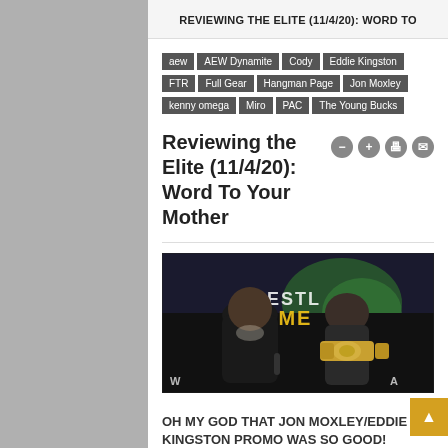REVIEWING THE ELITE (11/4/20): WORD TO
aew
AEW Dynamite
Cody
Eddie Kingston
FTR
Full Gear
Hangman Page
Jon Moxley
kenny omega
Miro
PAC
The Young Bucks
Reviewing the Elite (11/4/20): Word To Your Mother
[Figure (photo): Two wrestlers facing off: a large man in a black sleeveless top (Eddie Kingston) and a man wearing a championship belt (Jon Moxley), with AEW Full Gear branding visible in the background.]
OH MY GOD THAT JON MOXLEY/EDDIE KINGSTON PROMO WAS SO GOOD!
No point trying to hide the fact that this was the main highlight in this week's stick of AEW